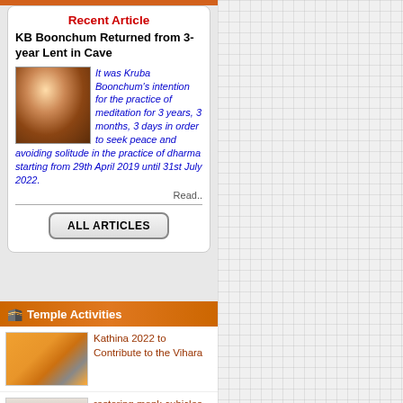Recent Article
KB Boonchum Returned from 3-year Lent in Cave
It was Kruba Boonchum's intention for the practice of meditation for 3 years, 3 months, 3 days in order to seek peace and avoiding solitude in the practice of dharma starting from 29th April 2019 until 31st July 2022.
Read..
ALL ARTICLES
Temple Activities
Kathina 2022 to Contribute to the Vihara
restoring monk cubicles damaged by flood and termites
Kathina 2022 to